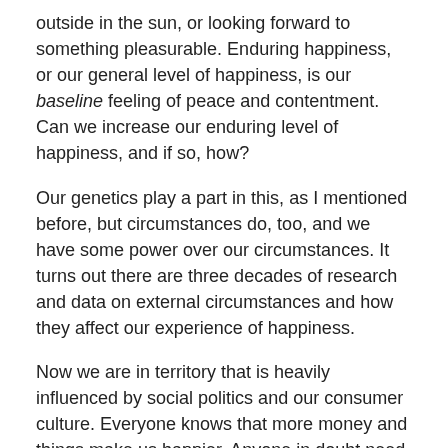outside in the sun, or looking forward to something pleasurable. Enduring happiness, or our general level of happiness, is our baseline feeling of peace and contentment. Can we increase our enduring level of happiness, and if so, how?
Our genetics play a part in this, as I mentioned before, but circumstances do, too, and we have some power over our circumstances. It turns out there are three decades of research and data on external circumstances and how they affect our experience of happiness.
Now we are in territory that is heavily influenced by social politics and our consumer culture. Everyone knows that more money and things make us happier. Anyone in doubt need only sit in front of a screen and absorb advertising for 30 minutes.
A cross-national survey of tens of thousands of